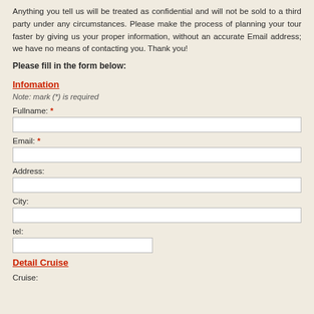Anything you tell us will be treated as confidential and will not be sold to a third party under any circumstances. Please make the process of planning your tour faster by giving us your proper information, without an accurate Email address; we have no means of contacting you. Thank you!
Please fill in the form below:
Infomation
Note: mark (*) is required
Fullname: *
Email: *
Address:
City:
tel:
Detail Cruise
Cruise: